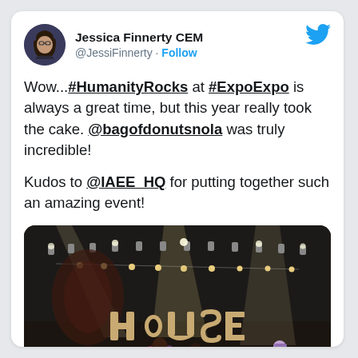[Figure (screenshot): Twitter/X profile card showing tweet by Jessica Finnerty CEM (@JessiFinnerty) with avatar photo and Twitter bird logo]
Wow...#HumanityRocks at #ExpoExpo is always a great time, but this year really took the cake. @bagofdonutsnola was truly incredible!

Kudos to @IAEE_HQ for putting together such an amazing event!
[Figure (photo): Concert/event photo showing performers on stage at 'House of Blues' style venue with stage lights and string lights overhead]